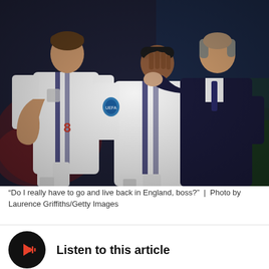[Figure (photo): Two England football players in white jerseys with the Euro 2020 badge, one covering his face in distress, being comforted by a man in a dark suit (the manager). Another player stands to the left looking on. Stadium crowd in background with blue lighting.]
“Do I really have to go and live back in England, boss?”  |  Photo by Laurence Griffiths/Getty Images
Listen to this article